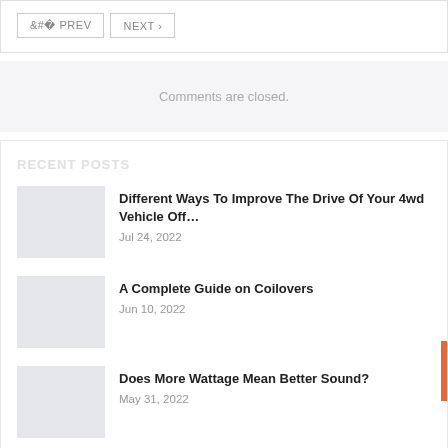< PREV   NEXT >
Comments are closed.
Recent Posts
Different Ways To Improve The Drive Of Your 4wd Vehicle Off… — Jul 24, 2022
A Complete Guide on Coilovers — Jun 10, 2022
Does More Wattage Mean Better Sound? — May 31, 2022